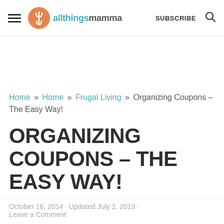allthingsmamma | SUBSCRIBE
Home » Home » Frugal Living » Organizing Coupons – The Easy Way!
ORGANIZING COUPONS – THE EASY WAY!
October 16, 2014 · Updated July 2, 2019 · Leave a Comment